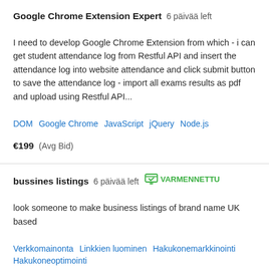Google Chrome Extension Expert  6 päivää left
I need to develop Google Chrome Extension from which - i can get student attendance log from Restful API and insert the attendance log into website attendance and click submit button to save the attendance log - import all exams results as pdf and upload using Restful API...
DOM   Google Chrome   JavaScript   jQuery   Node.js
€199  (Avg Bid)
bussines listings  6 päivää left  VARMENNETTU
look someone to make business listings of brand name UK based
Verkkomainonta   Linkkien luominen   Hakukonemarkkinointi   Hakukoneoptimointi
€33  (Avg Bid)